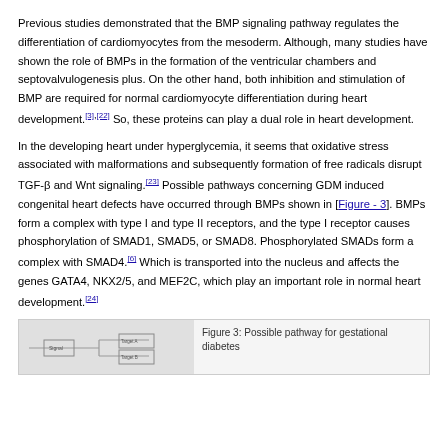Previous studies demonstrated that the BMP signaling pathway regulates the differentiation of cardiomyocytes from the mesoderm. Although, many studies have shown the role of BMPs in the formation of the ventricular chambers and septovalvulogenesis plus. On the other hand, both inhibition and stimulation of BMP are required for normal cardiomyocyte differentiation during heart development.[3],[22] So, these proteins can play a dual role in heart development.
In the developing heart under hyperglycemia, it seems that oxidative stress associated with malformations and subsequently formation of free radicals disrupt TGF-β and Wnt signaling.[23] Possible pathways concerning GDM induced congenital heart defects have occurred through BMPs shown in [Figure - 3]. BMPs form a complex with type I and type II receptors, and the type I receptor causes phosphorylation of SMAD1, SMAD5, or SMAD8. Phosphorylated SMADs form a complex with SMAD4.[6] Which is transported into the nucleus and affects the genes GATA4, NKX2/5, and MEF2C, which play an important role in normal heart development.[24]
[Figure (other): Partial view of a diagram showing a possible pathway for gestational diabetes]
Figure 3: Possible pathway for gestational diabetes